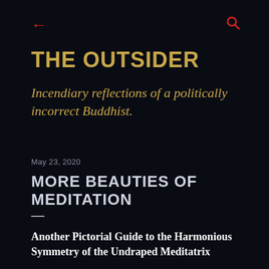← (back) | 🔍 (search)
THE OUTSIDER
Incendiary reflections of a politically incorrect Buddhist.
May 23, 2020
MORE BEAUTIES OF MEDITATION
—
Another Pictorial Guide to the Harmonious Symmetry of the Undraped Meditatrix